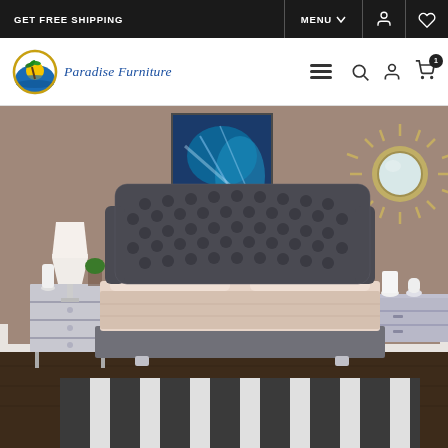GET FREE SHIPPING
MENU
[Figure (logo): Paradise Furniture logo with circular icon showing a palm tree silhouette against a yellow/orange sun over water, with the text 'Paradise Furniture' in blue italic serif font]
[Figure (photo): A stylish bedroom featuring a grey tufted velvet upholstered bed with tall button-tufted headboard, mirrored nightstand with table lamp, abstract blue artwork on wall, decorative starburst mirror on right wall, mirrored dresser, and a black and white striped area rug on dark hardwood floors. Room walls are taupe/mocha colored.]